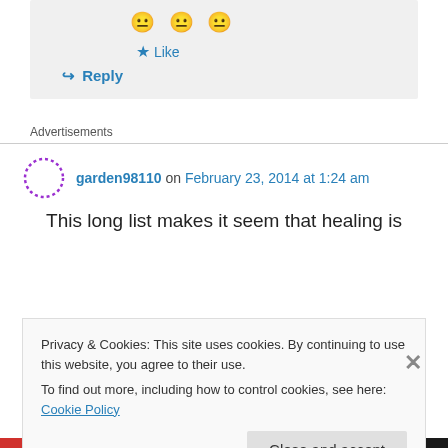[Figure (other): Three yellow smiley face emojis]
★ Like
↪ Reply
Advertisements
garden98110 on February 23, 2014 at 1:24 am
This long list makes it seem that healing is
Privacy & Cookies: This site uses cookies. By continuing to use this website, you agree to their use.
To find out more, including how to control cookies, see here: Cookie Policy
Close and accept